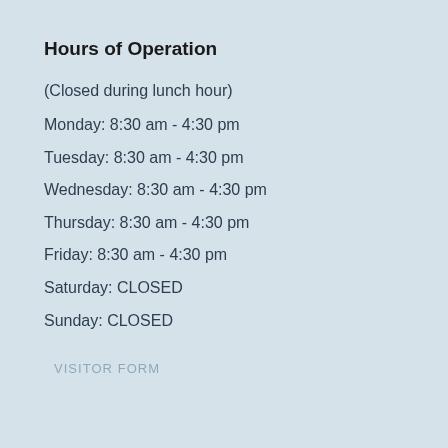Hours of Operation
(Closed during lunch hour)
Monday: 8:30 am - 4:30 pm
Tuesday: 8:30 am - 4:30 pm
Wednesday: 8:30 am - 4:30 pm
Thursday: 8:30 am - 4:30 pm
Friday: 8:30 am - 4:30 pm
Saturday: CLOSED
Sunday: CLOSED
VISITOR FORM